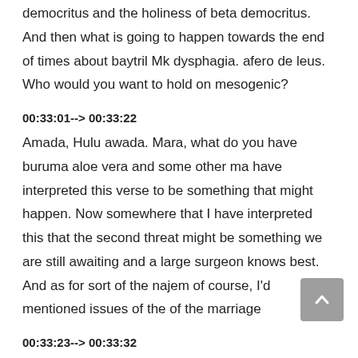democritus and the holiness of beta democritus. And then what is going to happen towards the end of times about baytril Mk dysphagia. afero de leus. Who would you want to hold on mesogenic?
00:33:01--> 00:33:22
Amada, Hulu awada. Mara, what do you have buruma aloe vera and some other ma have interpreted this verse to be something that might happen. Now somewhere that I have interpreted this that the second threat might be something we are still awaiting and a large surgeon knows best. And as for sort of the najem of course, I'd mentioned issues of the of the marriage
00:33:23--> 00:33:32
to theological questions. Firstly, did the Prophet system see his Lord